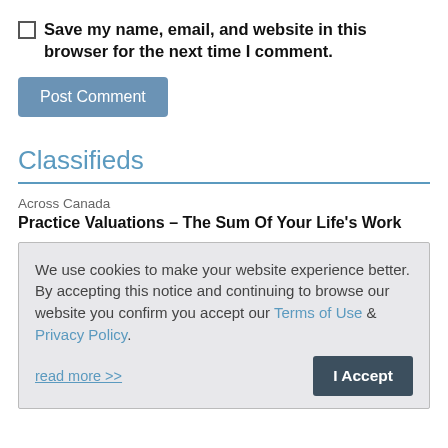Save my name, email, and website in this browser for the next time I comment.
Post Comment
Classifieds
Across Canada
Practice Valuations – The Sum Of Your Life's Work
We use cookies to make your website experience better. By accepting this notice and continuing to browse our website you confirm you accept our Terms of Use & Privacy Policy.

read more >>
I Accept